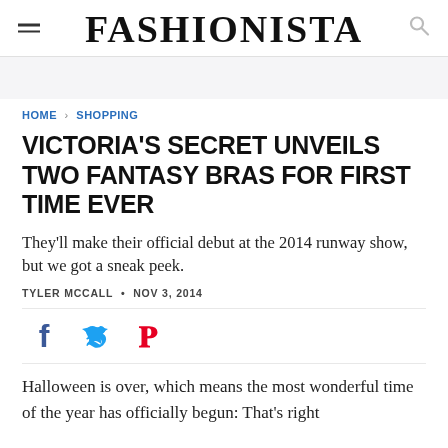FASHIONISTA
HOME › SHOPPING
VICTORIA'S SECRET UNVEILS TWO FANTASY BRAS FOR FIRST TIME EVER
They'll make their official debut at the 2014 runway show, but we got a sneak peek.
TYLER MCCALL • NOV 3, 2014
[Figure (infographic): Social share icons: Facebook (f), Twitter (bird), Pinterest (P)]
Halloween is over, which means the most wonderful time of the year has officially begun: That's right